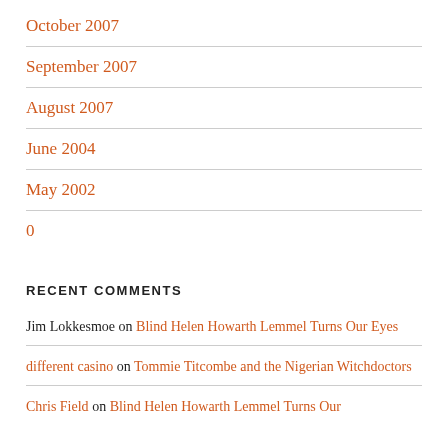October 2007
September 2007
August 2007
June 2004
May 2002
0
RECENT COMMENTS
Jim Lokkesmoe on Blind Helen Howarth Lemmel Turns Our Eyes
different casino on Tommie Titcombe and the Nigerian Witchdoctors
Chris Field on Blind Helen Howarth Lemmel Turns Our